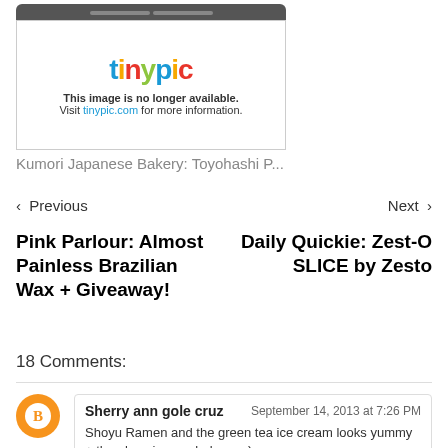[Figure (screenshot): Tinypic image placeholder showing logo and 'This image is no longer available. Visit tinypic.com for more information.']
Kumori Japanese Bakery: Toyohashi P...
< Previous    Next >
Pink Parlour: Almost Painless Brazilian Wax + Giveaway!
Daily Quickie: Zest-O SLICE by Zesto
18 Comments:
Sherry ann gole cruz    September 14, 2013 at 7:26 PM
Shoyu Ramen and the green tea ice cream looks yummy + the place is near bulacan :)